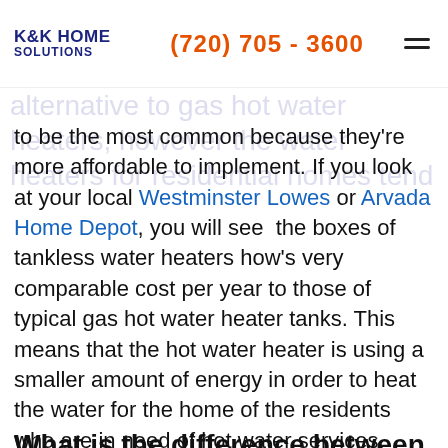K&K HOME SOLUTIONS | (720) 705 - 3600
alternative to gas hot water heaters, however the water heaters for residential homes tend to be the most common because they're more affordable to implement. If you look at your local Westminster Lowes or Arvada Home Depot, you will see the boxes of tankless water heaters how's very comparable cost per year to those of typical gas hot water heater tanks. This means that the hot water heater is using a smaller amount of energy in order to heat the water for the home of the residents who are in need of hot water services.
What is the difference between Gas Hot Water Heaters and Other types of Hot Water Heaters?
There is definitely a difference between gas hot water